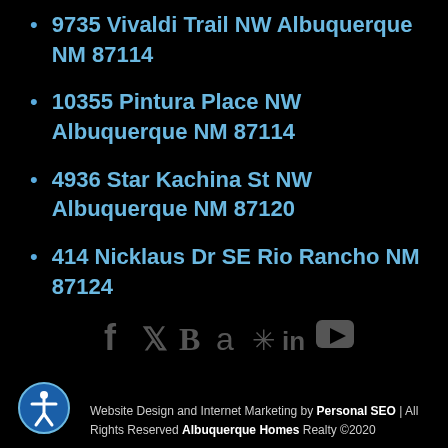9735 Vivaldi Trail NW Albuquerque NM 87114
10355 Pintura Place NW Albuquerque NM 87114
4936 Star Kachina St NW Albuquerque NM 87120
414 Nicklaus Dr SE Rio Rancho NM 87124
[Figure (infographic): Row of social media icons: Facebook, Twitter, Blogger, Amazon, Yelp, LinkedIn, YouTube — displayed in dark gray]
Website Design and Internet Marketing by Personal SEO | All Rights Reserved Albuquerque Homes Realty ©2020